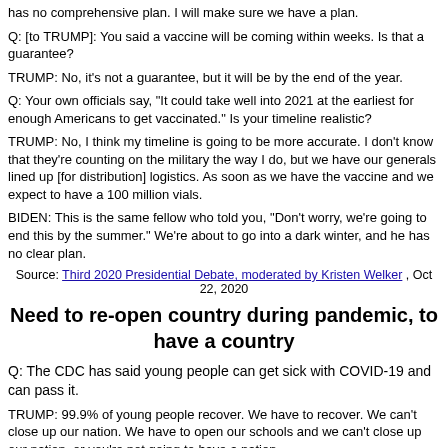has no comprehensive plan. I will make sure we have a plan.
Q: [to TRUMP]: You said a vaccine will be coming within weeks. Is that a guarantee?
TRUMP: No, it's not a guarantee, but it will be by the end of the year.
Q: Your own officials say, "It could take well into 2021 at the earliest for enough Americans to get vaccinated." Is your timeline realistic?
TRUMP: No, I think my timeline is going to be more accurate. I don't know that they're counting on the military the way I do, but we have our generals lined up [for distribution] logistics. As soon as we have the vaccine and we expect to have a 100 million vials.
BIDEN: This is the same fellow who told you, "Don't worry, we're going to end this by the summer." We're about to go into a dark winter, and he has no clear plan.
Source: Third 2020 Presidential Debate, moderated by Kristen Welker , Oct 22, 2020
Need to re-open country during pandemic, to have a country
Q: The CDC has said young people can get sick with COVID-19 and can pass it.
TRUMP: 99.9% of young people recover. We have to recover. We can't close up our nation. We have to open our schools and we can't close up our nation, or you're not going to have a nation.
BIDEN: He says that we're learning to live with it. People are learning to die with it. And you say, "I take no responsibility."
TRUMP: I take full responsibility. It's not my fault that it came here. It's China's